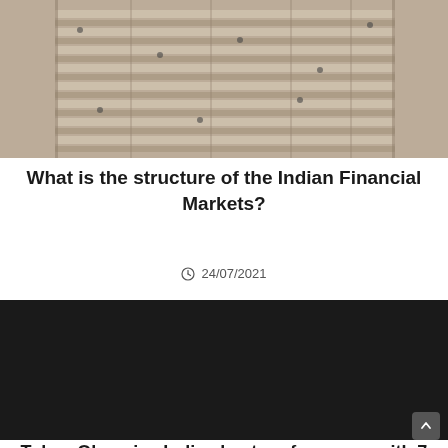[Figure (photo): Aerial view of what appears to be a large storage or logistics facility with rows of structures and equipment photographed from above]
What is the structure of the Indian Financial Markets?
24/07/2021
[Figure (photo): Dark nearly black image, possibly a video thumbnail placeholder]
Tokyo Olympics Indias best performance with 7